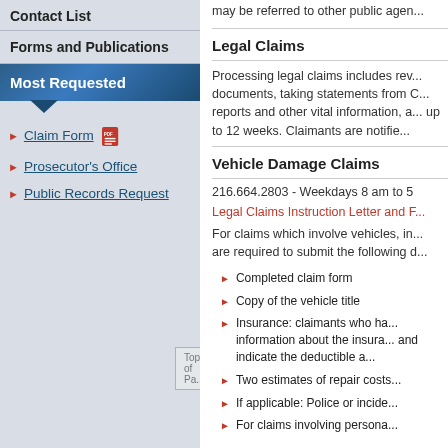Contact List
Forms and Publications
Most Requested
Claim Form
Prosecutor's Office
Public Records Request
may be referred to other public agen...
Legal Claims
Processing legal claims includes rev... documents, taking statements from C... reports and other vital information, a... up to 12 weeks. Claimants are notifie...
Vehicle Damage Claims
216.664.2803 - Weekdays 8 am to 5
Legal Claims Instruction Letter and F...
For claims which involve vehicles, in... are required to submit the following d...
Completed claim form
Copy of the vehicle title
Insurance: claimants who ha... information about the insura... and indicate the deductible a...
Two estimates of repair costs
If applicable: Police or incide...
For claims involving persona...